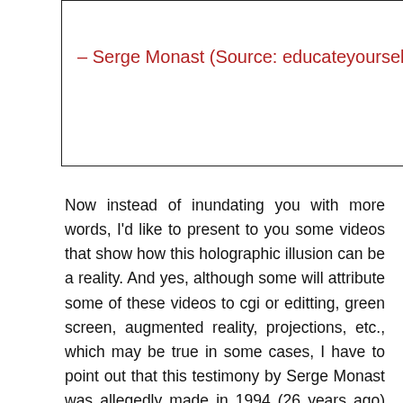– Serge Monast (Source: educateyourself.org)
Now instead of inundating you with more words, I'd like to present to you some videos that show how this holographic illusion can be a reality. And yes, although some will attribute some of these videos to cgi or editting, green screen, augmented reality, projections, etc., which may be true in some cases, I have to point out that this testimony by Serge Monast was allegedly made in 1994 (26 years ago) and the below videos show a timeline of the technology that they allowed us to see at the time (which if my understanding of these "corporations" is correct, totch would not let us see...